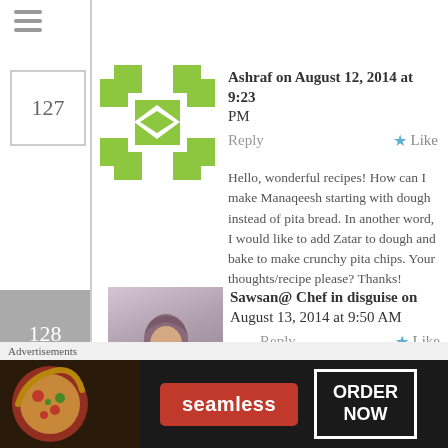[Figure (screenshot): Web page screenshot showing blog comments section with hamburger menu icon, comment numbers 127 and 128, user avatars, author names, dates, reply links, like buttons, comment text, and an advertisement banner at the bottom for Seamless food ordering service.]
Ashraf on August 12, 2014 at 9:23 PM   Reply   Like
Hello, wonderful recipes! How can I make Manaqeesh starting with dough instead of pita bread. In another word, I would like to add Zatar to dough and bake to make crunchy pita chips. Your thoughts/recipe please? Thanks!
Sawsan@ Chef in disguise on August 13, 2014 at 9:50 AM   Reply   Like
Advertisements